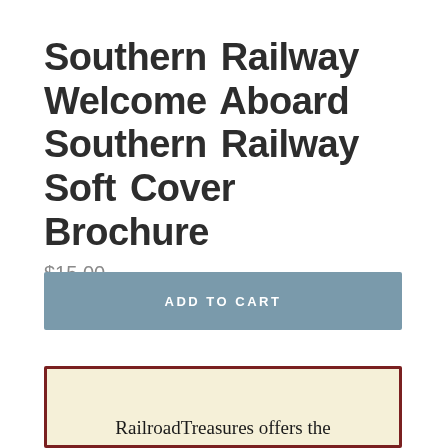Southern Railway Welcome Aboard Southern Railway Soft Cover Brochure
$15.00
ADD TO CART
RailroadTreasures offers the